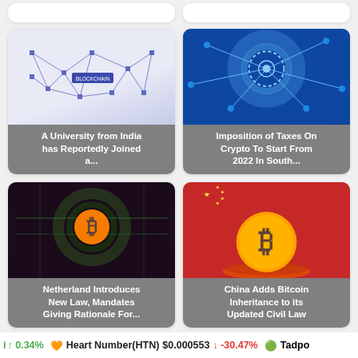[Figure (screenshot): Top partial row of two news cards (cropped at top)]
[Figure (screenshot): News card: blockchain network illustration with text 'A University from India has Reportedly Joined a...']
[Figure (screenshot): News card: blue tech crypto graphic with text 'Imposition of Taxes On Crypto To Start From 2022 In South...']
[Figure (screenshot): News card: dark Bitcoin with circuit board with text 'Netherland Introduces New Law, Mandates Giving Rationale For...']
[Figure (screenshot): News card: Bitcoin coin on China flag with text 'China Adds Bitcoin Inheritance to its Updated Civil Law']
[Figure (screenshot): Bottom partial cards (GPU and keyboard images, cropped)]
0.34% ↑  Heart Number(HTN)  $0.000553  ↓ -30.47%  Tadpo